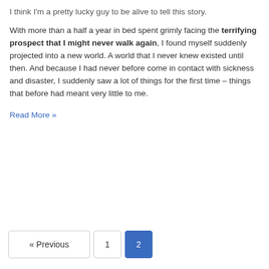I think I'm a pretty lucky guy to be alive to tell this story.
With more than a half a year in bed spent grimly facing the terrifying prospect that I might never walk again, I found myself suddenly projected into a new world. A world that I never knew existed until then. And because I had never before come in contact with sickness and disaster, I suddenly saw a lot of things for the first time – things that before had meant very little to me.
Read More »
« Previous  1  2